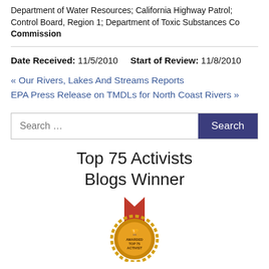Department of Water Resources; California Highway Patrol; Control Board, Region 1; Department of Toxic Substances Control; Commission
Date Received: 11/5/2010   Start of Review: 11/8/2010
« Our Rivers, Lakes And Streams Reports
EPA Press Release on TMDLs for North Coast Rivers »
Search …
Top 75 Activists Blogs Winner
[Figure (illustration): Award medal with red ribbon and gold circular badge with text 'AWARDED TOP 75 ACTIVIST']